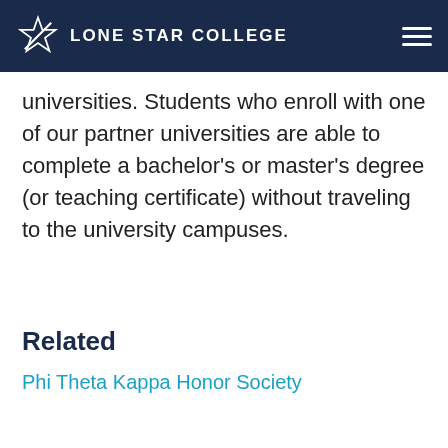Lone Star College
universities. Students who enroll with one of our partner universities are able to complete a bachelor's or master's degree (or teaching certificate) without traveling to the university campuses.
Related
Phi Theta Kappa Honor Society